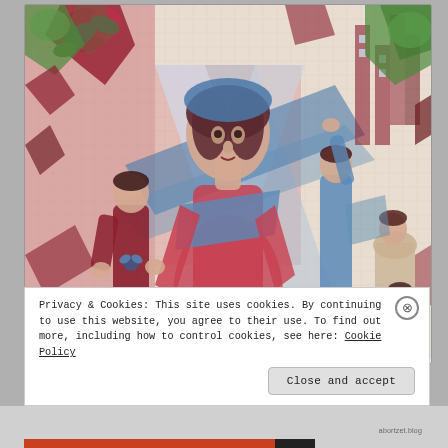[Figure (illustration): A large colorful Soviet-style mosaic mural on a tiled wall, featuring stylized figures including a central woman in blue and red, a man holding flowers/plants on the left, another figure with raised arm on the right, and industrial/architectural elements in the background. The artwork is rendered in bold geometric shapes with a palette of red, blue, white, green, and brown.]
Privacy & Cookies: This site uses cookies. By continuing to use this website, you agree to their use. To find out more, including how to control cookies, see here: Cookie Policy